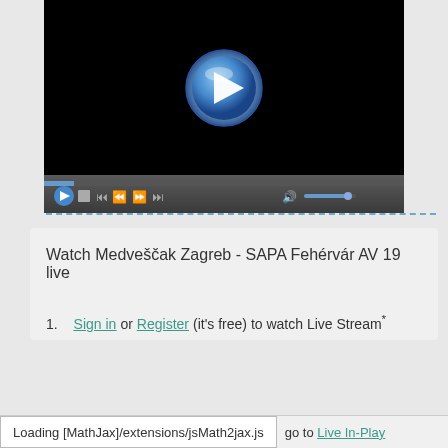[Figure (screenshot): Video player with black screen showing a blue metallic play button in the center, and a dark control bar at the bottom with playback controls and a progress bar.]
Watch Medveščak Zagreb - SAPA Fehérvár AV 19 live
Sign in or Register (it's free) to watch Live Stream*
Loading [MathJax]/extensions/jsMath2jax.js    go to Live In-Play